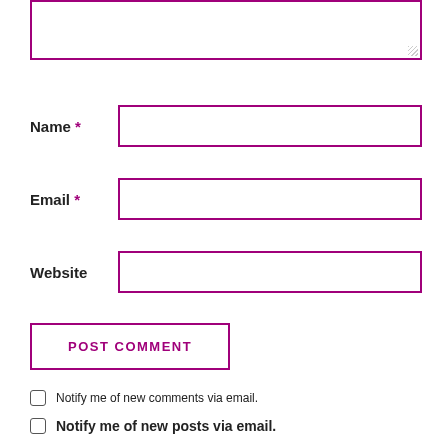[Figure (screenshot): A comment form with a textarea at the top (partially visible), followed by Name, Email, and Website input fields with magenta/purple borders, a POST COMMENT button with magenta border, and two checkboxes for email notification options.]
Name *
Email *
Website
POST COMMENT
Notify me of new comments via email.
Notify me of new posts via email.